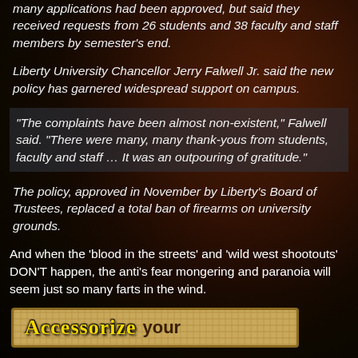many applications had been approved, but said they received requests from 26 students and 38 faculty and staff members by semester's end.
Liberty University Chancellor Jerry Falwell Jr. said the new policy has garnered widespread support on campus.
“The complaints have been almost non-existent,” Falwell said. “There were many, many thank-yous from students, faculty and staff … It was an outpouring of gratitude.”
The policy, approved in November by Liberty’s Board of Trustees, replaced a total ban of firearms on university grounds.
And when the 'blood in the streets' and 'wild west shootouts' DON'T happen, the anti's fear mongering and paranoia will seem just so many farts in the wind.
[Figure (illustration): Accessorize your banner at the bottom of the page on a parchment-style background]